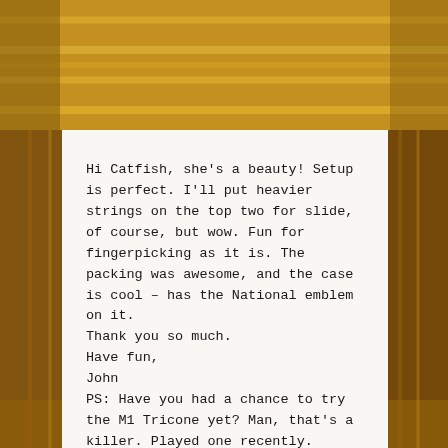[Figure (photo): Background image of woven basket/rattan material in golden/brown tones with a white card overlay in the center-lower area.]
Hi Catfish, she's a beauty! Setup is perfect. I'll put heavier strings on the top two for slide, of course, but wow. Fun for fingerpicking as it is. The packing was awesome, and the case is cool – has the National emblem on it.
Thank you so much.
Have fun,
John
PS: Have you had a chance to try the M1 Tricone yet? Man, that's a killer. Played one recently.
John